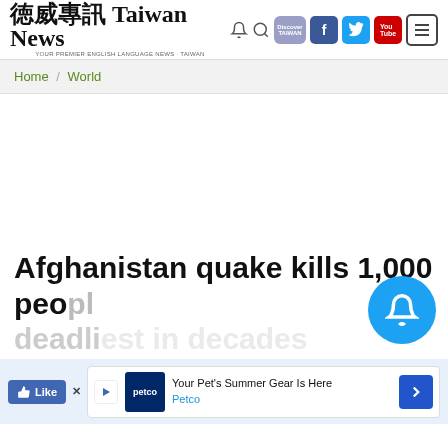Taiwan News — Home / World
Afghanistan quake kills 1,000 people, deadliest in decades
[Figure (screenshot): Taiwan News website screenshot showing navigation header with logo, social icons (Facebook, Twitter, YouTube), breadcrumb navigation Home / World, and a partially visible article headline about Afghanistan quake killing 1,000 people with a Petco advertisement overlay at bottom.]